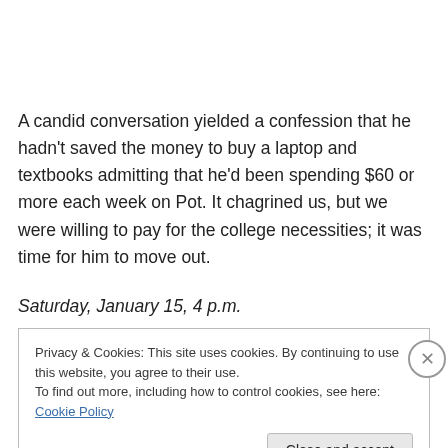A candid conversation yielded a confession that he hadn't saved the money to buy a laptop and textbooks admitting that he'd been spending $60 or more each week on Pot. It chagrined us, but we were willing to pay for the college necessities; it was time for him to move out.
Saturday, January 15, 4 p.m.
Privacy & Cookies: This site uses cookies. By continuing to use this website, you agree to their use.
To find out more, including how to control cookies, see here: Cookie Policy